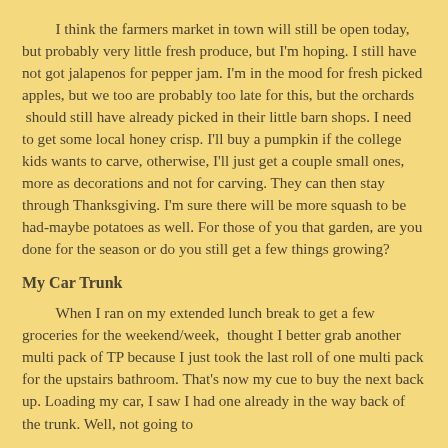I think the farmers market in town will still be open today, but probably very little fresh produce, but I'm hoping. I still have not got jalapenos for pepper jam. I'm in the mood for fresh picked apples, but we too are probably too late for this, but the orchards  should still have already picked in their little barn shops. I need to get some local honey crisp. I'll buy a pumpkin if the college kids wants to carve, otherwise, I'll just get a couple small ones, more as decorations and not for carving. They can then stay through Thanksgiving. I'm sure there will be more squash to be had-maybe potatoes as well. For those of you that garden, are you done for the season or do you still get a few things growing?
My Car Trunk
When I ran on my extended lunch break to get a few groceries for the weekend/week,  thought I better grab another multi pack of TP because I just took the last roll of one multi pack for the upstairs bathroom. That's now my cue to buy the next back up. Loading my car, I saw I had one already in the way back of the trunk. Well, not going to